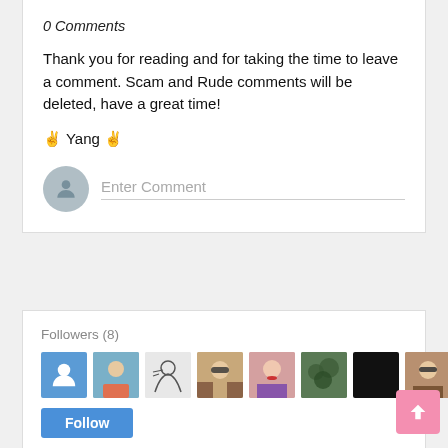0 Comments
Thank you for reading and for taking the time to leave a comment. Scam and Rude comments will be deleted, have a great time!
✌ Yang ✌
Enter Comment
Followers (8)
[Figure (other): Row of 8 follower profile thumbnails]
Follow